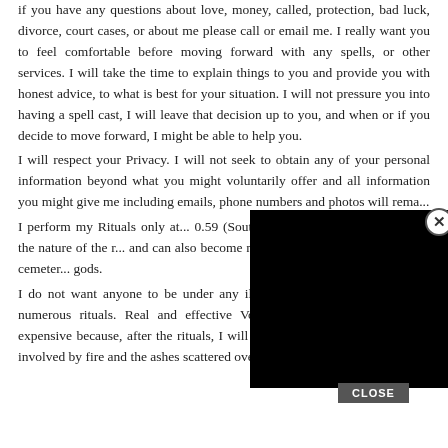if you have any questions about love, money, called, protection, bad luck, divorce, court cases, or about me please call or email me. I really want you to feel comfortable before moving forward with any spells, or other services. I will take the time to explain things to you and provide you with honest advice, to what is best for your situation. I will not pressure you into having a spell cast, I will leave that decision up to you, and when or if you decide to move forward, I might be able to help you.
I will respect your Privacy. I will not seek to obtain any of your personal information beyond what you might voluntarily offer and all information you might give me including emails, phone numbers and photos will remain...
I perform my Rituals only at... 0.59 (South African time) la... depends on the nature of the r... and can also become necessary... like; flowing streams, cemeter... gods.
I do not want anyone to be under any illusions about my spells and its numerous rituals. Real and effective Voodoo is no child's play, it is expensive because, after the rituals, I will have to destroy all the materials involved by fire and the ashes scattered over a flowing stream or river.